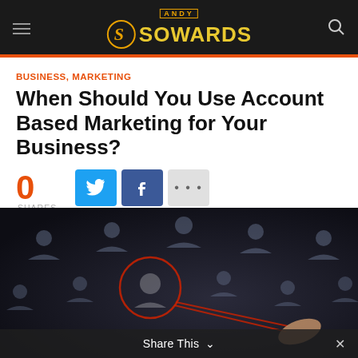Andy Sowards
BUSINESS, MARKETING
When Should You Use Account Based Marketing for Your Business?
0 SHARES  ANDY SOWARDS  JULY 9, 2019  0  2,575
[Figure (photo): Dark background with network of person/user icons connected by lines, with a hand circling one figure using a red marker, representing account-based marketing targeting]